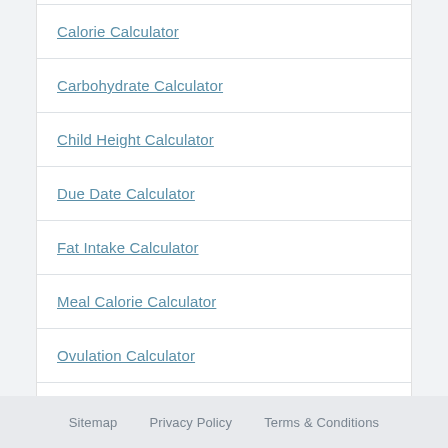Calorie Calculator
Carbohydrate Calculator
Child Height Calculator
Due Date Calculator
Fat Intake Calculator
Meal Calorie Calculator
Ovulation Calculator
Period Calculator
Sitemap   Privacy Policy   Terms & Conditions